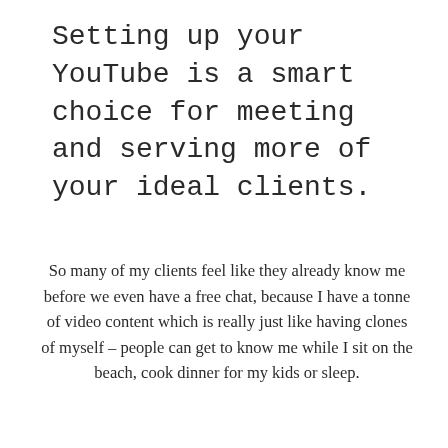Setting up your YouTube is a smart choice for meeting and serving more of your ideal clients.
So many of my clients feel like they already know me before we even have a free chat, because I have a tonne of video content which is really just like having clones of myself – people can get to know me while I sit on the beach, cook dinner for my kids or sleep.